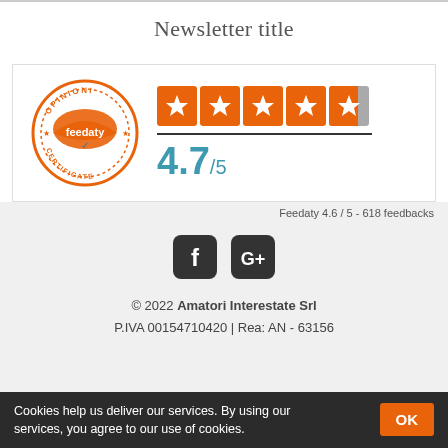Newsletter title
[Figure (infographic): Feedaty certificate badge with orange circle, stars rating showing 4.7/5, feedaty logo inside circular stamp with OPINIONI and CERTIFICATE text]
Feedaty 4.6 / 5 - 618 feedbacks
[Figure (infographic): Social media icons: Facebook and Google+ rounded square icons in dark gray]
© 2022 Amatori Interestate Srl P.IVA 00154710420 | Rea: AN - 63156
Cookies help us deliver our services. By using our services, you agree to our use of cookies. OK